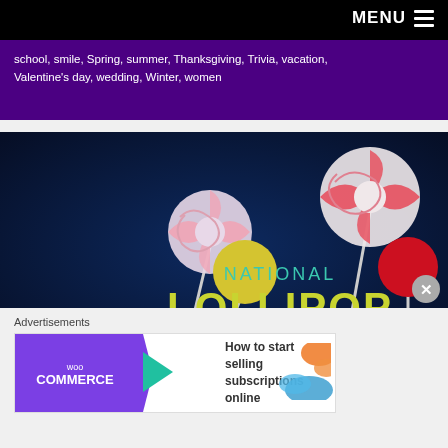MENU
school, smile, Spring, summer, Thanksgiving, Trivia, vacation, Valentine’s day, wedding, Winter, women
[Figure (illustration): National Lollipop Day graphic on dark blue background with colorful lollipop illustrations including pinwheel-style and round lollipops in yellow, red, white-pink, and a green 'NATIONAL LOLLIPOP' text logo]
Advertisements
[Figure (screenshot): WooCommerce advertisement banner with purple arrow-shaped WooCommerce logo on left and text 'How to start selling subscriptions online' with orange and blue leaf decorations on right]